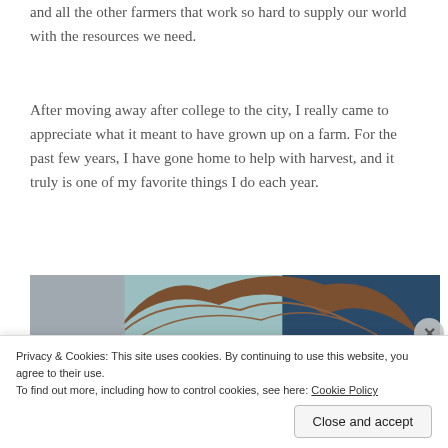and all the other farmers that work so hard to supply our world with the resources we need.
After moving away after college to the city, I really came to appreciate what it meant to have grown up on a farm. For the past few years, I have gone home to help with harvest, and it truly is one of my favorite things I do each year.
[Figure (photo): Partial photo showing top of a person's head with brown curly hair, in front of farm machinery. A WARNING label is visible on orange and white sticker on the left side of the image.]
Privacy & Cookies: This site uses cookies. By continuing to use this website, you agree to their use.
To find out more, including how to control cookies, see here: Cookie Policy
Close and accept